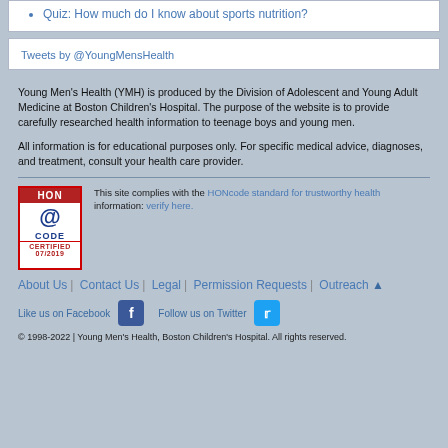Quiz: How much do I know about sports nutrition?
Tweets by @YoungMensHealth
Young Men's Health (YMH) is produced by the Division of Adolescent and Young Adult Medicine at Boston Children's Hospital. The purpose of the website is to provide carefully researched health information to teenage boys and young men.
All information is for educational purposes only. For specific medical advice, diagnoses, and treatment, consult your health care provider.
[Figure (logo): HON CODE CERTIFIED 07/2019 badge with red border and blue @ symbol]
This site complies with the HONcode standard for trustworthy health information: verify here.
About Us | Contact Us | Legal | Permission Requests | Outreach ▲
Like us on Facebook  Follow us on Twitter
© 1998-2022 | Young Men's Health, Boston Children's Hospital. All rights reserved.